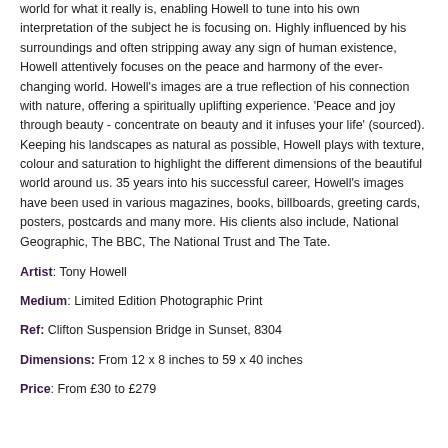world for what it really is, enabling Howell to tune into his own interpretation of the subject he is focusing on. Highly influenced by his surroundings and often stripping away any sign of human existence, Howell attentively focuses on the peace and harmony of the ever-changing world. Howell's images are a true reflection of his connection with nature, offering a spiritually uplifting experience. 'Peace and joy through beauty - concentrate on beauty and it infuses your life' (sourced). Keeping his landscapes as natural as possible, Howell plays with texture, colour and saturation to highlight the different dimensions of the beautiful world around us. 35 years into his successful career, Howell's images have been used in various magazines, books, billboards, greeting cards, posters, postcards and many more. His clients also include, National Geographic, The BBC, The National Trust and The Tate.
Artist: Tony Howell
Medium: Limited Edition Photographic Print
Ref: Clifton Suspension Bridge in Sunset, 8304
Dimensions: From 12 x 8 inches to 59 x 40 inches
Price: From £30 to £279